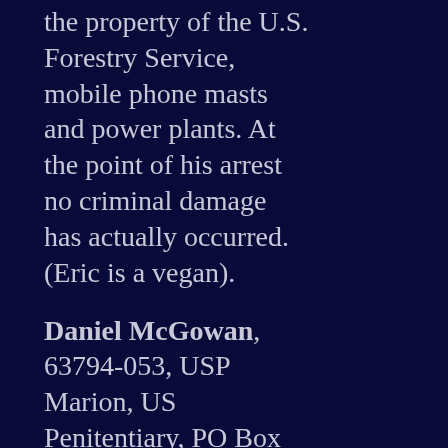the property of the U.S. Forestry Service, mobile phone masts and power plants. At the point of his arrest no criminal damage has actually occurred. (Eric is a vegan).
Daniel McGowan, 63794-053, USP Marion, US Penitentiary, PO Box 1000, Marion, IL 62959, USA. Serving 7 years for an ELF arson against a Poplar Tree Farm and an ELF arson against